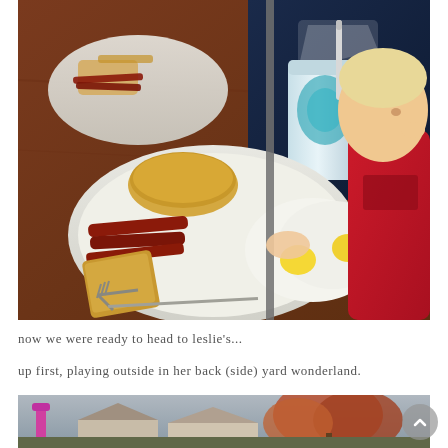[Figure (photo): A child in a red long-sleeve shirt sitting at a restaurant table with a plate containing fried eggs, bacon, and toast, along with an English muffin. A large drink cup with a straw is visible. Another person in a dark sports jersey is seen in the background. The table is reddish-brown.]
now we were ready to head to leslie's...
up first, playing outside in her back (side) yard wonderland.
[Figure (photo): Partial view of an outdoor yard scene showing trees with autumn foliage, a pink/magenta play structure or post, and houses in the background under an overcast sky.]